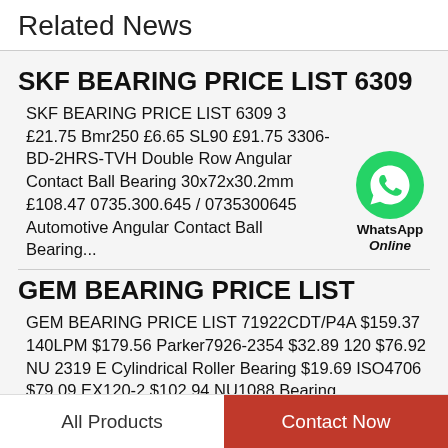Related News
SKF BEARING PRICE LIST 6309
SKF BEARING PRICE LIST 6309 3 ￡21.75 Bmr250 ￡6.65 SL90 ￡91.75 3306-BD-2HRS-TVH Double Row Angular Contact Ball Bearing 30x72x30.2mm ￡108.47 0735.300.645 / 0735300645 Automotive Angular Contact Ball Bearing...
[Figure (logo): WhatsApp Online green icon with label WhatsApp Online]
GEM BEARING PRICE LIST
GEM BEARING PRICE LIST 71922CDT/P4A $159.37 140LPM $179.56 Parker7926-2354 $32.89 120 $76.92 NU 2319 E Cylindrical Roller Bearing $19.69 ISO4706 $79.09 EX120-2 $102.94 NU1088 Bearing 440x650x94mm...
All Products   Contact Now